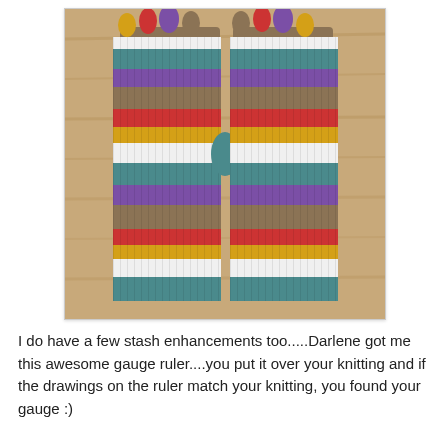[Figure (photo): Two colorful striped fingerless knitted gloves laid flat on a wooden surface. The gloves have multicolored horizontal stripes in colors including purple, red, yellow/gold, white, teal/gray-green, and khaki/brown. The fingers are open at the top showing individual finger loops in various colors.]
I do have a few stash enhancements too.....Darlene got me this awesome gauge ruler....you put it over your knitting and if the drawings on the ruler match your knitting, you found your gauge :)